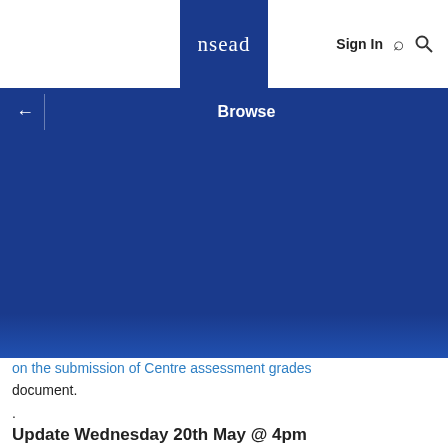nsead | Sign In 🔍
Browse
[Figure (other): Blue banner/hero image area for NSEAD website navigation]
on the submission of Centre assessment grades document.
.
Update Wednesday 20th May @ 4pm